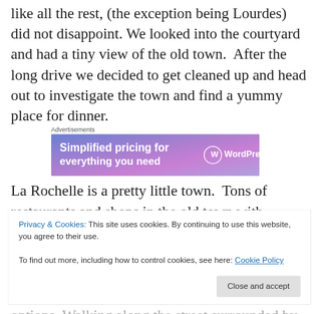like all the rest, (the exception being Lourdes) did not disappoint. We looked into the courtyard and had a tiny view of the old town.  After the long drive we decided to get cleaned up and head out to investigate the town and find a yummy place for dinner.
[Figure (other): WordPress.com advertisement banner: 'Simplified pricing for everything you need' with WordPress.com logo on gradient blue-purple background]
La Rochelle is a pretty little town.  Tons of restaurants and shops in the old town with beautiful cobblestone roads and
Privacy & Cookies: This site uses cookies. By continuing to use this website, you agree to their use.
To find out more, including how to control cookies, see here: Cookie Policy
[Close and accept button]
options. Walking along the street surrounded by all these